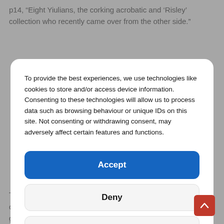p14, “Eight Yiulians, the corking acrobatic and ‘Risley’ collection who recently came over from the other side.”
To provide the best experiences, we use technologies like cookies to store and/or access device information. Consenting to these technologies will allow us to process data such as browsing behaviour or unique IDs on this site. Not consenting or withdrawing consent, may adversely affect certain features and functions.
Accept
Deny
View preferences
This troupe commands the highest salary ever paid to a company of gymnasts, and the sensational work they perform gives proof that theirs is justly the most celebrated in the